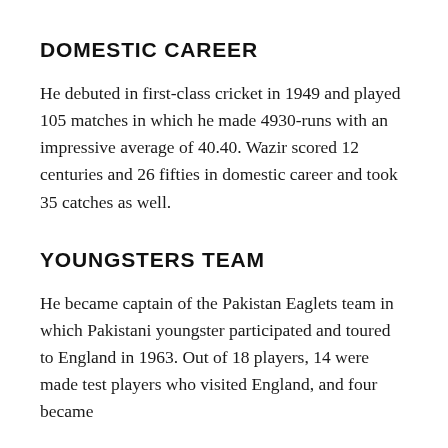DOMESTIC CAREER
He debuted in first-class cricket in 1949 and played 105 matches in which he made 4930-runs with an impressive average of 40.40. Wazir scored 12 centuries and 26 fifties in domestic career and took 35 catches as well.
YOUNGSTERS TEAM
He became captain of the Pakistan Eaglets team in which Pakistani youngster participated and toured to England in 1963. Out of 18 players, 14 were made test players who visited England, and four became